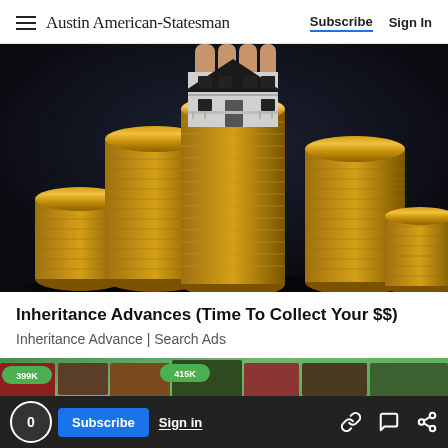Austin American-Statesman | Subscribe | Sign In
[Figure (photo): Hand holding a miniature house model above large stacks of gold coins on a dark background]
Inheritance Advances (Time To Collect Your $$)
Inheritance Advance | Search Ads
[Figure (photo): Aerial view of suburban houses with green price tags showing 399K, 415K, 422K]